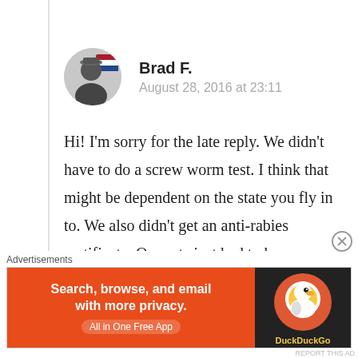Brad F.
August 28, 2016 at 23:11
Hi! I'm sorry for the late reply. We didn't have to do a screw worm test. I think that might be dependent on the state you fly in to. We also didn't get an anti-rabies certificate. Our cats just had to have a rabies shot within I think it was a month of the flight. That was a prerequisite to getting the health
Advertisements
[Figure (other): DuckDuckGo advertisement banner: orange left side with text 'Search, browse, and email with more privacy. All in One Free App', dark right side with DuckDuckGo logo]